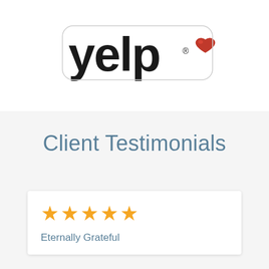[Figure (logo): Yelp logo with red heart icon on white background]
Client Testimonials
★★★★★
Eternally Grateful